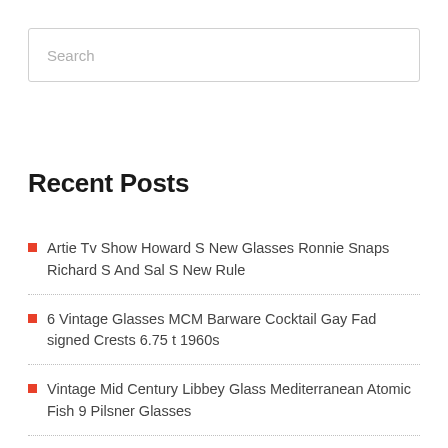Search
Recent Posts
Artie Tv Show Howard S New Glasses Ronnie Snaps Richard S And Sal S New Rule
6 Vintage Glasses MCM Barware Cocktail Gay Fad signed Crests 6.75 t 1960s
Vintage Mid Century Libbey Glass Mediterranean Atomic Fish 9 Pilsner Glasses